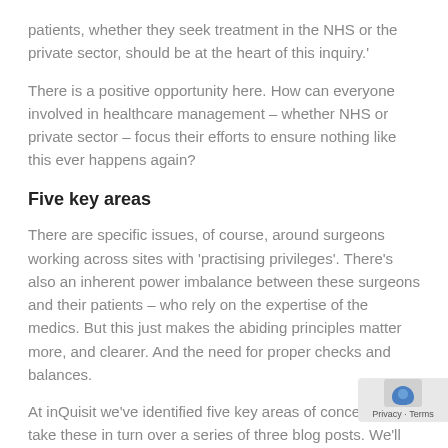patients, whether they seek treatment in the NHS or the private sector, should be at the heart of this inquiry.'
There is a positive opportunity here. How can everyone involved in healthcare management – whether NHS or private sector – focus their efforts to ensure nothing like this ever happens again?
Five key areas
There are specific issues, of course, around surgeons working across sites with 'practising privileges'. There's also an inherent power imbalance between these surgeons and their patients – who rely on the expertise of the medics. But this just makes the abiding principles matter more, and clearer. And the need for proper checks and balances.
At inQuisit we've identified five key areas of concern. We'll take these in turn over a series of three blog posts. We'll outline the problems, and share thoughts about potential remedies.